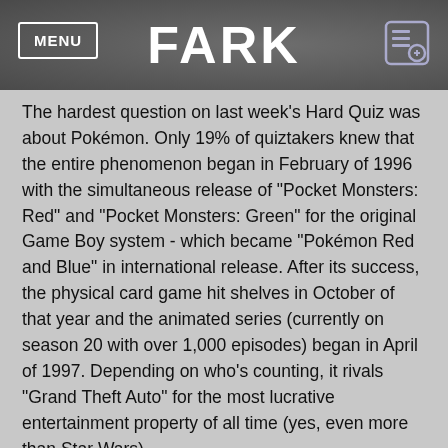FARK
The hardest question on last week's Hard Quiz was about Pokémon. Only 19% of quiztakers knew that the entire phenomenon began in February of 1996 with the simultaneous release of "Pocket Monsters: Red" and "Pocket Monsters: Green" for the original Game Boy system - which became "Pokémon Red and Blue" in international release. After its success, the physical card game hit shelves in October of that year and the animated series (currently on season 20 with over 1,000 episodes) began in April of 1997. Depending on who's counting, it rivals "Grand Theft Auto" for the most lucrative entertainment property of all time (yes, even more than Star Wars).
The easiest question on the Hard Quiz was about which Canadian city wound up being cut off from the rest of Canada after torrential rain and landslides wiped out local